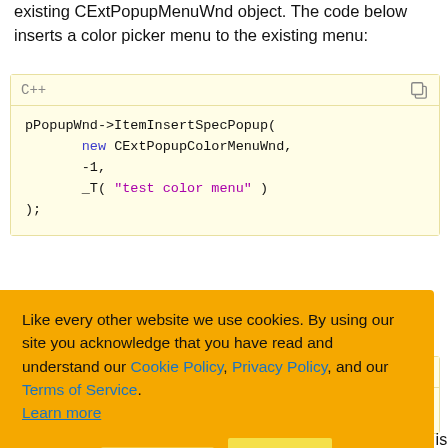existing CExtPopupMenuWnd object. The code below inserts a color picker menu to the existing menu:
[Figure (screenshot): C++ code block showing pPopupWnd->ItemInsertSpecPopup( new CExtPopupColorMenuWnd, -1, _T( "test color menu" ) );]
4. To set the popup menu, initialize the popup menu:
[Figure (screenshot): C++ code block (partially visible): ...nu( 0, x, y]
...ing position is
...uto-destroyed, so do not call the delete operator for these objects
[Figure (screenshot): Cookie consent banner overlay: Like every other website we use cookies. By using our site you acknowledge that you have read and understand our Cookie Policy, Privacy Policy, and our Terms of Service. Learn more. Buttons: Ask me later, Decline, Allow cookies]